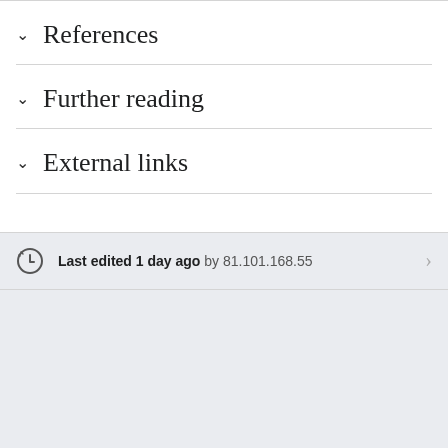References
Further reading
External links
Last edited 1 day ago by 81.101.168.55